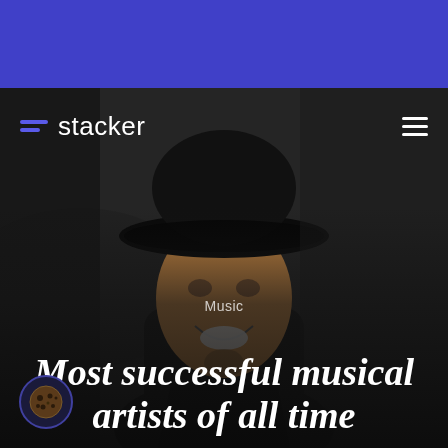[Figure (screenshot): Stacker website screenshot with purple top banner, photo of a smiling man wearing a black cowboy hat, and article title overlay]
stacker
Music
Most successful musical artists of all time